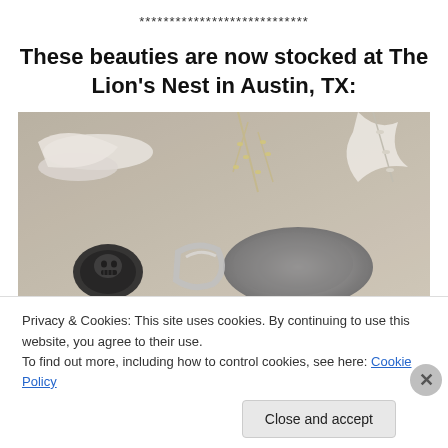****************************
These beauties are now stocked at The Lion’s Nest in Austin, TX:
[Figure (photo): Close-up photo of jewelry pieces including a black skull ring and a silver ring displayed on a decorative surface with dried floral elements.]
Privacy & Cookies: This site uses cookies. By continuing to use this website, you agree to their use.
To find out more, including how to control cookies, see here: Cookie Policy
Close and accept